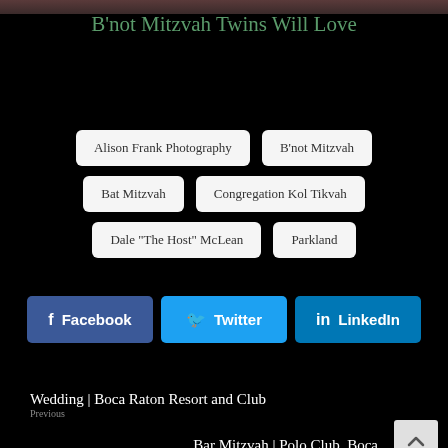[Figure (photo): Top banner image strip, dark reddish-brown tones]
B'not Mitzvah Twins Will Love
Alison Frank Photography
B'not Mitzvah
Bat Mitzvah
Congregation Kol Tikvah
Dale "The Host" McLean
Parkland
Facebook  Twitter  LinkedIn
Wedding | Boca Raton Resort and Club
Previous
Bar Mitzvah | Polo Club, Boca